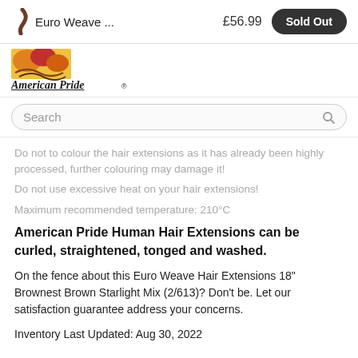Euro Weave ... £56.99 Sold Out
[Figure (logo): American Pride logo with colorful hair extensions image and italic serif text]
Search
Do not to colour the hair extensions as it has already been highly processed, further colouring may damage it!
Do not use excessive heat on your hair extensions!
Maximum recommended temperature: 210°C
American Pride Human Hair Extensions can be curled, straightened, tonged and washed.
On the fence about this Euro Weave Hair Extensions 18" Brownest Brown Starlight Mix (2/613)? Don't be. Let our satisfaction guarantee address your concerns.
Inventory Last Updated: Aug 30, 2022